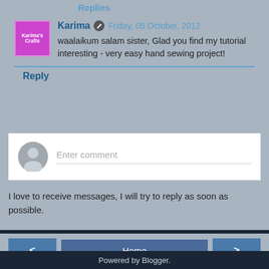Replies
Karima  Friday, 05 October, 2012
waalaikum salam sister, Glad you find my tutorial interesting - very easy hand sewing project!
Reply
Enter comment
I love to receive messages, I will try to reply as soon as possible.
Home
View web version
Powered by Blogger.